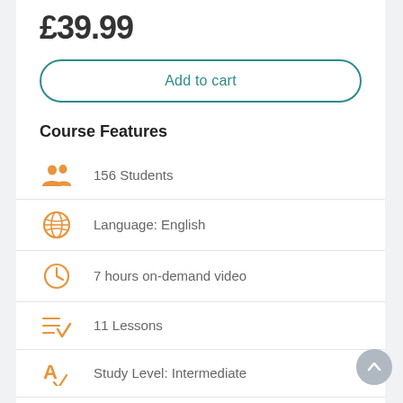£39.99
Add to cart
Course Features
156 Students
Language: English
7 hours on-demand video
11 Lessons
Study Level: Intermediate
Certificate of Completion